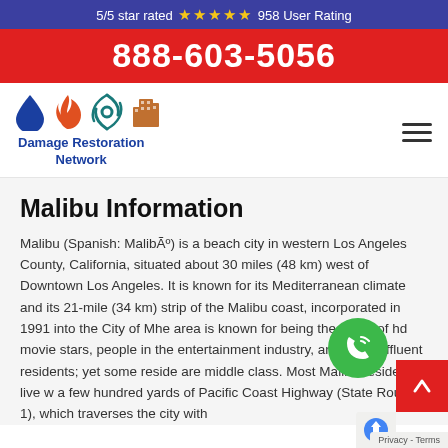5/5 star rated ⭐⭐⭐⭐⭐ 958 User Rating
888-603-5056
[Figure (logo): Damage Restoration Network logo with water drop, fire, hurricane, and building icons]
Malibu Information
Malibu (Spanish: MalibÃº) is a beach city in western Los Angeles County, California, situated about 30 miles (48 km) west of Downtown Los Angeles. It is known for its Mediterranean climate and its 21-mile (34 km) strip of the Malibu coast, incorporated in 1991 into the City of M... he area is known for being the home of h... d movie stars, people in the entertainment industry, and other affluent residents; yet some reside... are middle class. Most Malibu residents live w... a few hundred yards of Pacific Coast Highway... (State Route 1), which traverses the city with